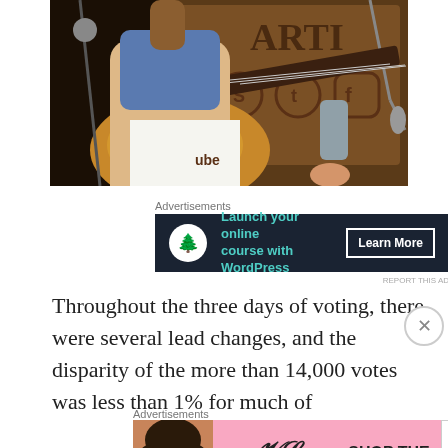[Figure (photo): Person playing acoustic guitar on stage with social media icons (Snapchat, Twitter, Facebook) visible on backdrop. Microphone stand visible on right side.]
Advertisements
[Figure (infographic): Advertisement banner: dark background with tree logo circle. Text: 'Launch your online course with WordPress' with 'Learn More' button.]
REPORT THIS AD
Throughout the three days of voting, there were several lead changes, and the disparity of the more than 14,000 votes was less than 1% for much of
Advertisements
[Figure (infographic): Victoria's Secret advertisement. Pink background with model, VS logo, text 'SHOP THE COLLECTION' and 'SHOP NOW' button.]
REPORT THIS AD